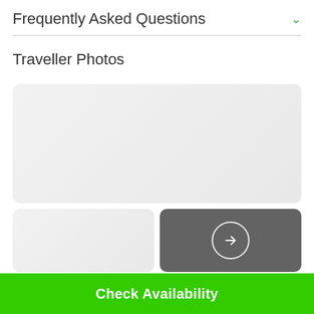Frequently Asked Questions
Traveller Photos
[Figure (photo): Large placeholder photo panel (light grey, rounded corners)]
[Figure (photo): Small placeholder photo panel on left (light grey, rounded corners)]
[Figure (other): Dark grey panel on right with white circle arrow button indicating more photos]
Check Availability